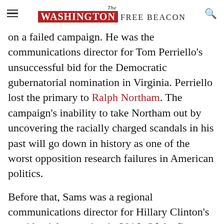The Washington Free Beacon
on a failed campaign. He was the communications director for Tom Perriello's unsuccessful bid for the Democratic gubernatorial nomination in Virginia. Perriello lost the primary to Ralph Northam. The campaign's inability to take Northam out by uncovering the racially charged scandals in his past will go down in history as one of the worst opposition research failures in American politics.
Before that, Sams was a regional communications director for Hillary Clinton's presidential campaign in 2016. Of the five states in his portfolio—Colorado, Florida, Ohio, Pennsylvania, and Virginia—his candidate won just